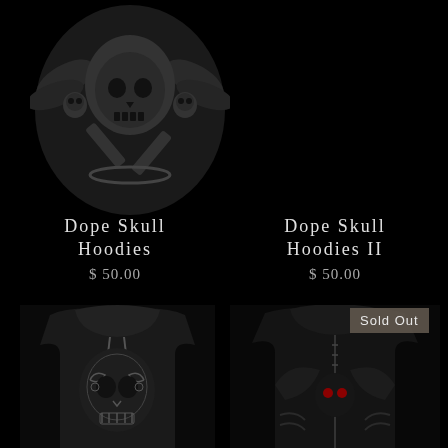[Figure (illustration): Skull with biker helmet, wings, crossed pistons and chains graphic on dark background, top center of page]
Dope Skull Hoodies
$ 50.00
Dope Skull Hoodies II
$ 50.00
[Figure (photo): Black hoodie with decorative sugar skull graphic on front, dark background, bottom left]
[Figure (photo): Black zip-up hoodie with dark floral/skull print and red accent, dark background, bottom right]
Sold Out